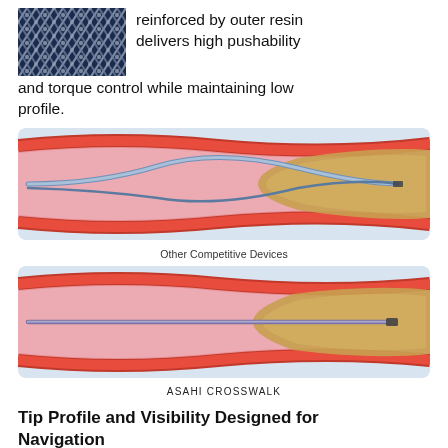[Figure (photo): Close-up photo of braided mesh catheter structure with blue and metallic weave pattern]
reinforced by outer resin delivers high pushability and torque control while maintaining low profile.
[Figure (illustration): Medical illustration showing a blood vessel cross-section with plaque and a guidewire navigating through — labeled 'Other Competitive Devices'. The wire curves and bends through the vessel.]
Other Competitive Devices
[Figure (illustration): Medical illustration showing a blood vessel cross-section with plaque and the ASAHI CROSSWALK guidewire navigating straight through the vessel.]
ASAHI CROSSWALK
Tip Profile and Visibility Designed for Navigation